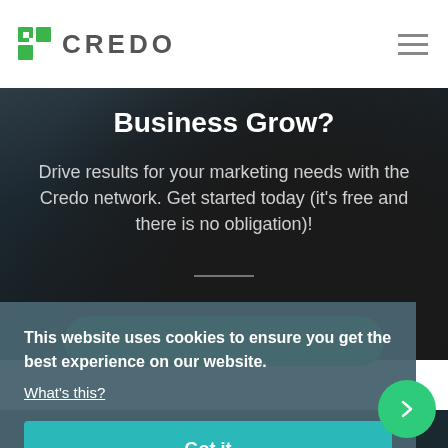[Figure (logo): Credo logo with green stylized flag/bookmark icon and text 'CREDO' in grey capital letters]
Business Grow?
Drive results for your marketing needs with the Credo network. Get started today (it's free and there is no obligation)!
This website uses cookies to ensure you get the best experience on our website.
What's this?
Got it